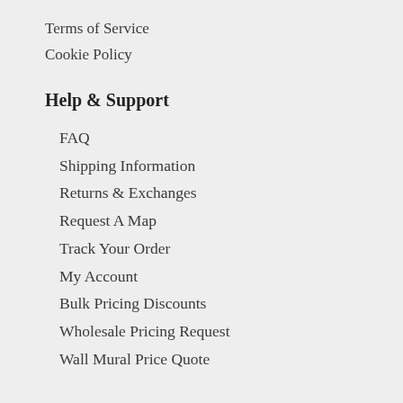Terms of Service
Cookie Policy
Help & Support
FAQ
Shipping Information
Returns & Exchanges
Request A Map
Track Your Order
My Account
Bulk Pricing Discounts
Wholesale Pricing Request
Wall Mural Price Quote